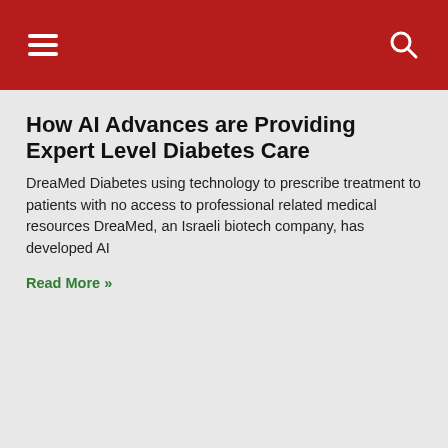Navigation header with hamburger menu and search icon
How AI Advances are Providing Expert Level Diabetes Care
DreaMed Diabetes using technology to prescribe treatment to patients with no access to professional related medical resources DreaMed, an Israeli biotech company, has developed AI
Read More »